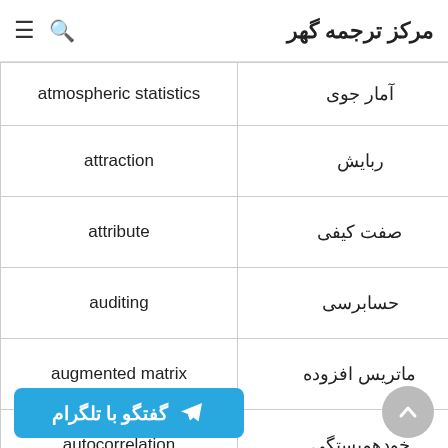مرکز ترجمه گهر
| English | Persian |
| --- | --- |
| atmospheric statistics | آمار جوی |
| attraction | ربایش |
| attribute | صفت کیفی |
| auditing | حسابرسی |
| augmented matrix | ماتریس افزوده |
| autocorrelation | خودهمبستگی |
| autocorrelation function | تابع خودهمبستگی |
|  | اتوکوواریانس |